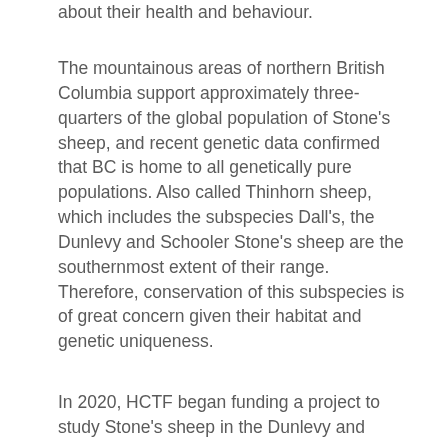about their health and behaviour.
The mountainous areas of northern British Columbia support approximately three-quarters of the global population of Stone's sheep, and recent genetic data confirmed that BC is home to all genetically pure populations. Also called Thinhorn sheep, which includes the subspecies Dall's, the Dunlevy and Schooler Stone's sheep are the southernmost extent of their range. Therefore, conservation of this subspecies is of great concern given their habitat and genetic uniqueness.
In 2020, HCTF began funding a project to study Stone's sheep in the Dunlevy and